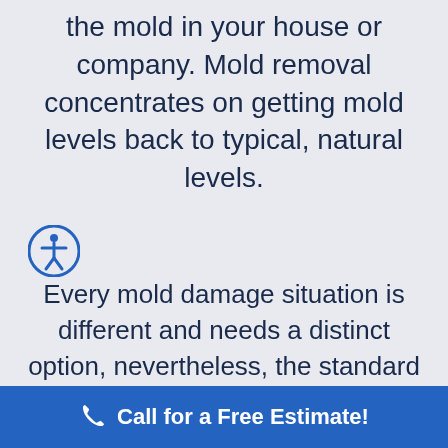the mold in your house or company. Mold removal concentrates on getting mold levels back to typical, natural levels.
Every mold damage situation is different and needs a distinct option, nevertheless, the standard mold removal process stays the same. Mold damage in a home can be particularly
Call for a Free Estimate!